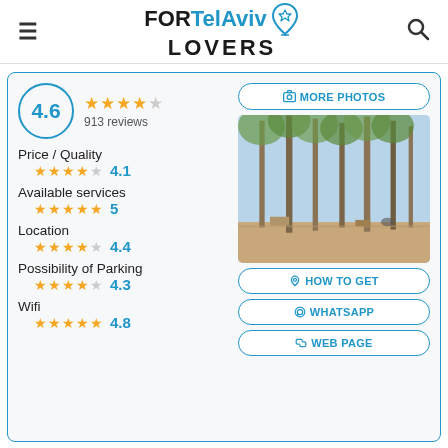FORTelAviv LOVERS
[Figure (infographic): Rating card for a location near Tel Aviv showing overall score 4.6 with 913 reviews, sub-ratings for Price/Quality (4.1), Available services (5), Location (4.4), Possibility of Parking (4.3), Wifi (4.8), and a forest park photo with action buttons MORE PHOTOS, HOW TO GET, WHATSAPP, WEB PAGE]